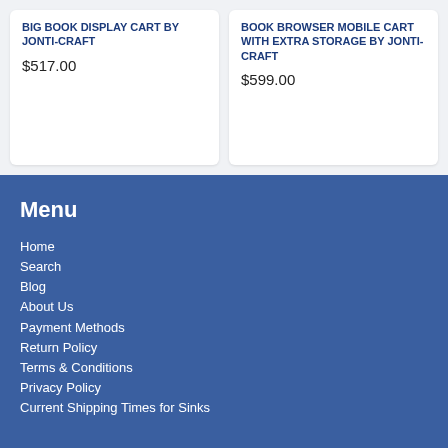BIG BOOK DISPLAY CART BY JONTI-CRAFT
$517.00
BOOK BROWSER MOBILE CART WITH EXTRA STORAGE BY JONTI-CRAFT
$599.00
Menu
Home
Search
Blog
About Us
Payment Methods
Return Policy
Terms & Conditions
Privacy Policy
Current Shipping Times for Sinks